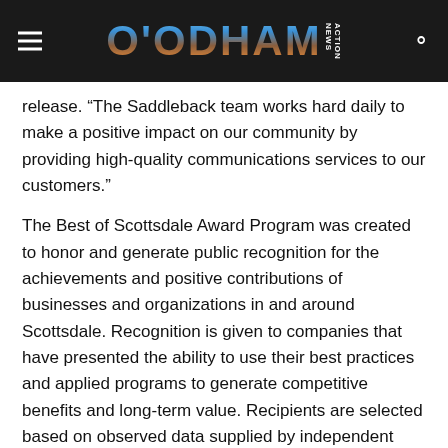O'ODHAM ACTION NEWS
release. “The Saddleback team works hard daily to make a positive impact on our community by providing high-quality communications services to our customers.”
The Best of Scottsdale Award Program was created to honor and generate public recognition for the achievements and positive contributions of businesses and organizations in and around Scottsdale. Recognition is given to companies that have presented the ability to use their best practices and applied programs to generate competitive benefits and long-term value. Recipients are selected based on observed data supplied by independent third parties, and information is gathered internally by the Best of Scottsdale Award Pr…
Saddleback Communications has been providing telep…